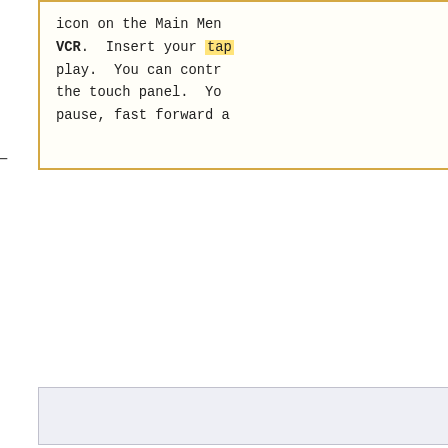icon on the Main Menu VCR. Insert your tape to play. You can control the touch panel. You can pause, fast forward a...
'''Auxiliary''' - This other devices you might not already available Disc player or Document...
Latest revision as o...